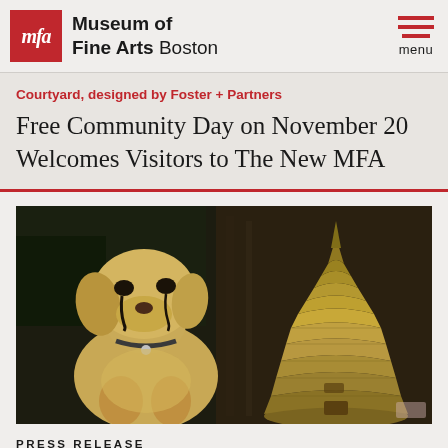Museum of Fine Arts Boston
Courtyard, designed by Foster + Partners
Free Community Day on November 20 Welcomes Visitors to The New MFA
[Figure (photo): Painting of a yellow Labrador retriever dog sitting beside a golden beehive structure against a dark background. The dog has theatrical tear marks painted on its face.]
PRESS RELEASE